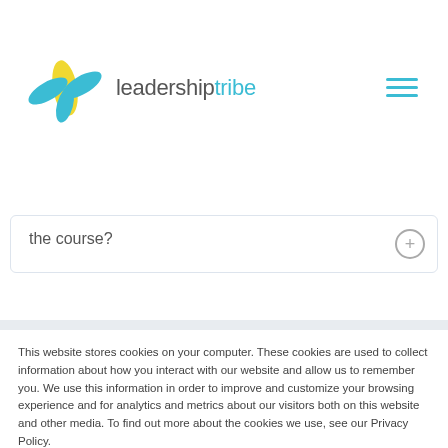[Figure (logo): Leadership Tribe logo with stylized bird/leaf shape in blue and yellow, and the text 'leadershiptribe' in gray and teal]
the course?
This website stores cookies on your computer. These cookies are used to collect information about how you interact with our website and allow us to remember you. We use this information in order to improve and customize your browsing experience and for analytics and metrics about our visitors both on this website and other media. To find out more about the cookies we use, see our Privacy Policy.
If you decline, your information won't be tracked when you visit this website. A single cookie will be used in your browser to remember your preference not to be tracked.